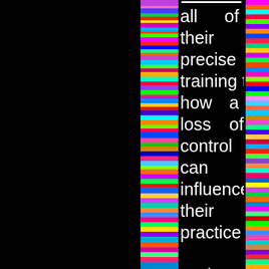all of their precise training to see how a loss of control can influence their practice

And so how can it influence other areas etc. For example, could it go into writing, dance, composing etc (yes – and it's already been